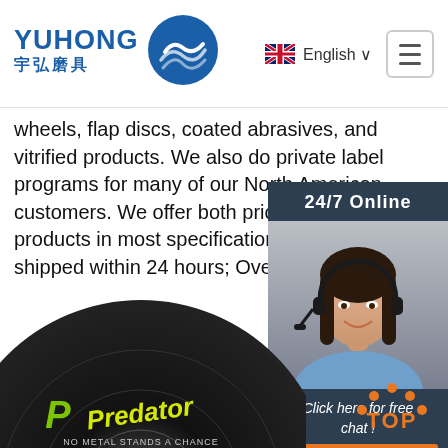[Figure (logo): Yuhong brand logo with blue wave icon, text YUHONG in blue and Chinese characters 宇弘磨具]
[Figure (screenshot): Navigation bar with UK flag, English language selector, and hamburger menu button]
wheels, flap discs, coated abrasives, and vitrified products. We also do private label programs for many of our North American customers. We offer both price poi... premium products in most specifications. Fill... All orders shipped within 24 hours; Over 3,00... items
[Figure (photo): 24/7 Online chat widget showing a customer service representative wearing a headset, with 'Click here for free chat!' text and QUOTATION button]
[Figure (photo): Predator abrasive cutting disc with text 'NO METAL STANDS A CHANCE' in yellow stylized font on dark background]
[Figure (illustration): TOP button with orange dots arranged in arc shape above orange TOP text]